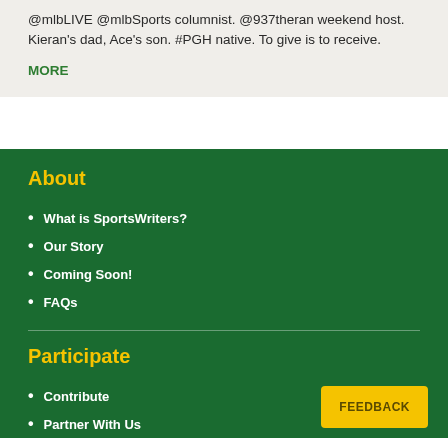@mlbLIVE @mlbSports columnist. @937theran weekend host. Kieran's dad, Ace's son. #PGH native. To give is to receive.
MORE
About
What is SportsWriters?
Our Story
Coming Soon!
FAQs
Participate
Contribute
Partner With Us
FEEDBACK